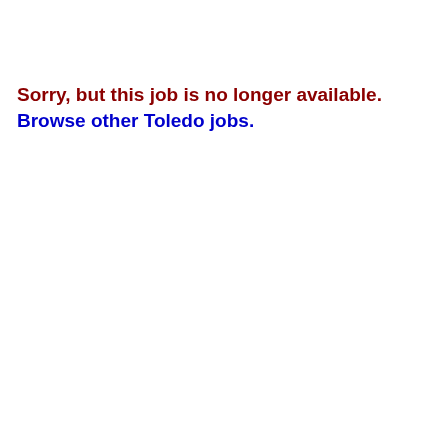Sorry, but this job is no longer available. Browse other Toledo jobs.